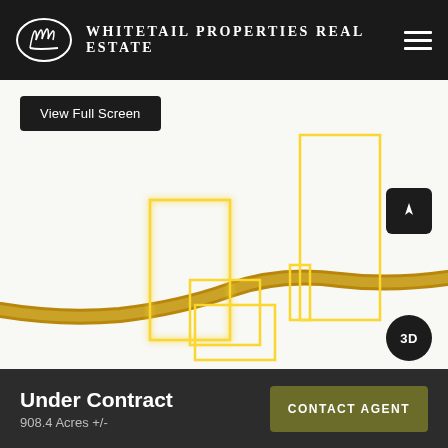Whitetail Properties Real Estate
[Figure (map): Property boundary map showing multiple parcel outlines highlighted in yellow/gold on a white background. A winding road (brown) crosses the lower portion. A compass button and 3D toggle are visible. A 'View Full Screen' button is in the upper left.]
Under Contract
908.4 Acres +/-
CONTACT AGENT